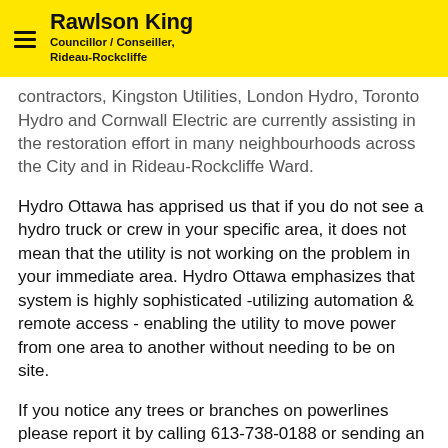Rawlson King — Councillor / Conseiller, Rideau-Rockcliffe
contractors, Kingston Utilities, London Hydro, Toronto Hydro and Cornwall Electric are currently assisting in the restoration effort in many neighbourhoods across the City and in Rideau-Rockcliffe Ward.
Hydro Ottawa has apprised us that if you do not see a hydro truck or crew in your specific area, it does not mean that the utility is not working on the problem in your immediate area. Hydro Ottawa emphasizes that system is highly sophisticated -utilizing automation & remote access - enabling the utility to move power from one area to another without needing to be on site.
If you notice any trees or branches on powerlines please report it by calling 613-738-0188 or sending an e-mail to CustomerService@hydroottawa.com.  Do not attempt to remove branches that may be touching a power line.